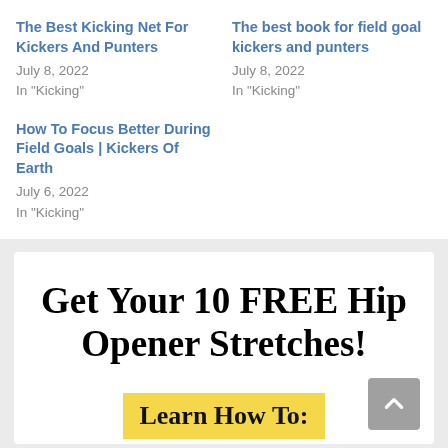The Best Kicking Net For Kickers And Punters
July 8, 2022
In "Kicking"
The best book for field goal kickers and punters
July 8, 2022
In "Kicking"
How To Focus Better During Field Goals | Kickers Of Earth
July 6, 2022
In "Kicking"
Get Your 10 FREE Hip Opener Stretches!
Learn How To: